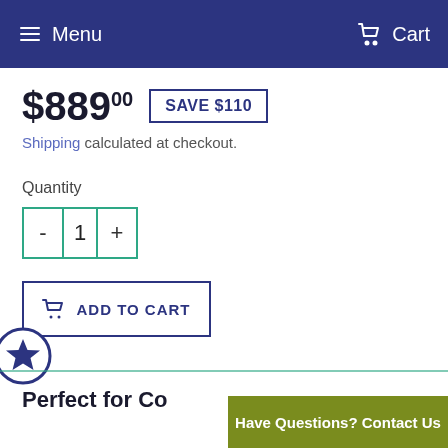Menu  Cart
$889.00  SAVE $110
Shipping calculated at checkout.
Quantity
- 1 +
ADD TO CART
Perfect for Co...
Have Questions? Contact Us